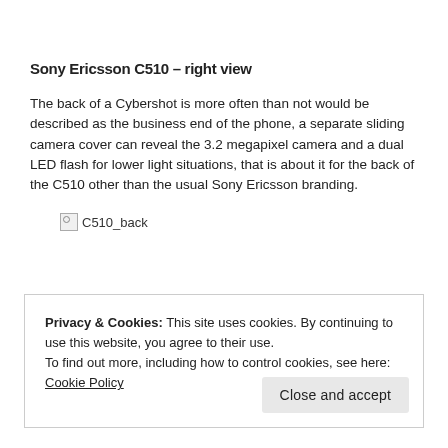Sony Ericsson C510 – right view
The back of a Cybershot is more often than not would be described as the business end of the phone, a separate sliding camera cover can reveal the 3.2 megapixel camera and a dual LED flash for lower light situations, that is about it for the back of the C510 other than the usual Sony Ericsson branding.
[Figure (photo): Broken image placeholder labeled C510_back]
Privacy & Cookies: This site uses cookies. By continuing to use this website, you agree to their use.
To find out more, including how to control cookies, see here: Cookie Policy